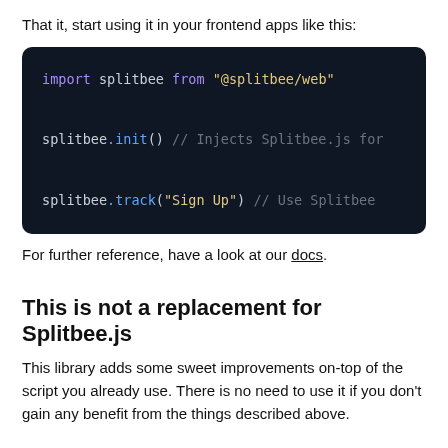That it, start using it in your frontend apps like this:
[Figure (screenshot): Code block on dark background showing: import splitbee from "@splitbee/web"; splitbee.init() // Injects Splitbee.js for; splitbee.track("Sign Up") // Use Splitbee]
For further reference, have a look at our docs.
This is not a replacement for Splitbee.js
This library adds some sweet improvements on-top of the script you already use. There is no need to use it if you don't gain any benefit from the things described above.